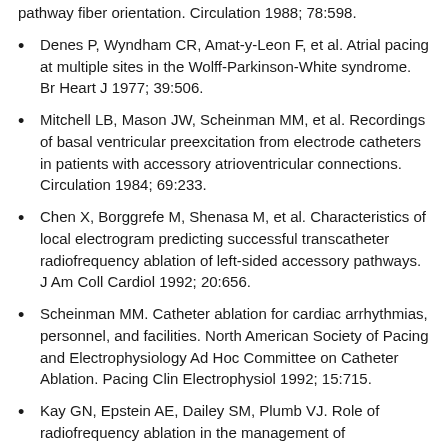pathway fiber orientation. Circulation 1988; 78:598.
Denes P, Wyndham CR, Amat-y-Leon F, et al. Atrial pacing at multiple sites in the Wolff-Parkinson-White syndrome. Br Heart J 1977; 39:506.
Mitchell LB, Mason JW, Scheinman MM, et al. Recordings of basal ventricular preexcitation from electrode catheters in patients with accessory atrioventricular connections. Circulation 1984; 69:233.
Chen X, Borggrefe M, Shenasa M, et al. Characteristics of local electrogram predicting successful transcatheter radiofrequency ablation of left-sided accessory pathways. J Am Coll Cardiol 1992; 20:656.
Scheinman MM. Catheter ablation for cardiac arrhythmias, personnel, and facilities. North American Society of Pacing and Electrophysiology Ad Hoc Committee on Catheter Ablation. Pacing Clin Electrophysiol 1992; 15:715.
Kay GN, Epstein AE, Dailey SM, Plumb VJ. Role of radiofrequency ablation in the management of supraventricular arrhythmias: experience in 760